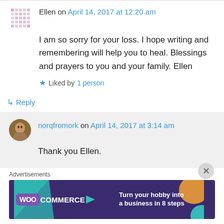Ellen on April 14, 2017 at 12:20 am
I am so sorry for your loss. I hope writing and remembering will help you to heal. Blessings and prayers to you and your family. Ellen
Liked by 1 person
↳ Reply
norqfromork on April 14, 2017 at 3:14 am
Thank you Ellen.
Advertisements
[Figure (screenshot): WooCommerce advertisement banner: 'Turn your hobby into a business in 8 steps' on dark purple background with geometric shapes]